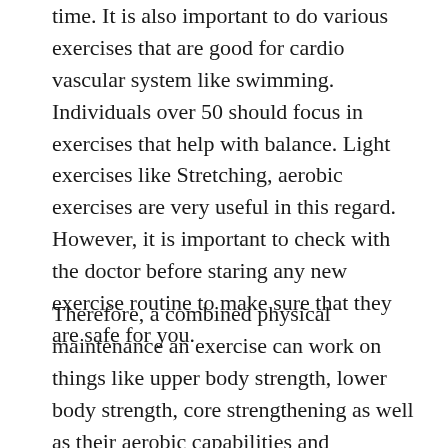time. It is also important to do various exercises that are good for cardio vascular system like swimming. Individuals over 50 should focus in exercises that help with balance. Light exercises like Stretching, aerobic exercises are very useful in this regard. However, it is important to check with the doctor before staring any new exercise routine to make sure that they are safe for you.
Therefore, a combined physical maintenance an exercise can work on things like upper body strength, lower body strength, core strengthening as well as their aerobic capabilities and endurance things like range of motions, flexibility, agility and things like